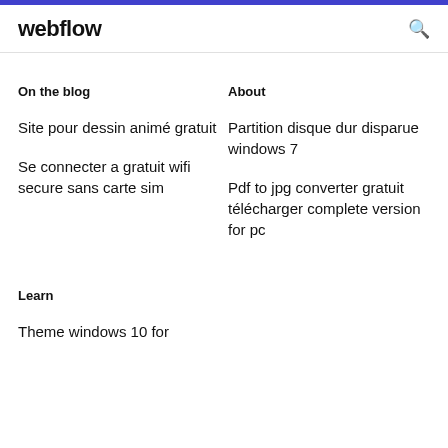webflow
On the blog
About
Site pour dessin animé gratuit
Partition disque dur disparue windows 7
Se connecter a gratuit wifi secure sans carte sim
Pdf to jpg converter gratuit télécharger complete version for pc
Learn
Theme windows 10 for